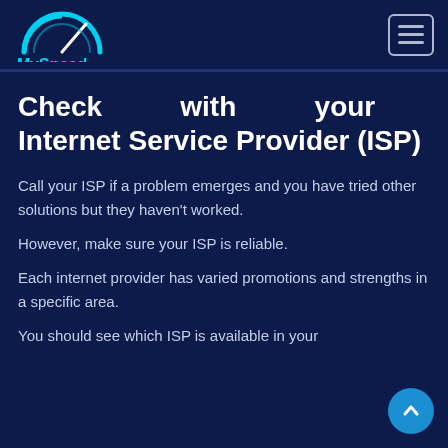[Figure (logo): MySpeed logo with cyan speedometer arc and text 'MySpeed' in cyan on dark navy background]
Check with your Internet Service Provider (ISP)
Call your ISP if a problem emerges and you have tried other solutions but they haven't worked.
However, make sure your ISP is reliable.
Each internet provider has varied promotions and strengths in a specific area.
You should see which ISP is available in your